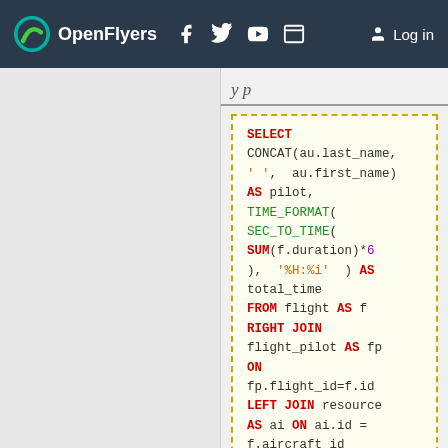OpenFlyers — navigation bar with logo, social icons, and Log in link
SELECT CONCAT(au.last_name, ' ', au.first_name) AS pilot, TIME_FORMAT( SEC_TO_TIME( SUM(f.duration)*60 ), '%H:%i' ) AS total_time FROM flight AS f RIGHT JOIN flight_pilot AS fp ON fp.flight_id=f.id LEFT JOIN resource AS ai ON ai.id = f.aircraft_id LEFT JOIN resource_type AS at ON ai.resource_type_id = at.id LEFT JOIN person AS